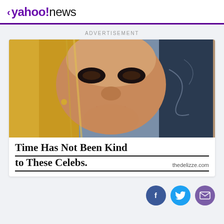< yahoo!news
ADVERTISEMENT
[Figure (photo): Close-up photo of a blonde woman with heavy eye makeup, smiling, wearing dangling earrings against a blurred dark background]
Time Has Not Been Kind to These Celebs.
thedelizze.com